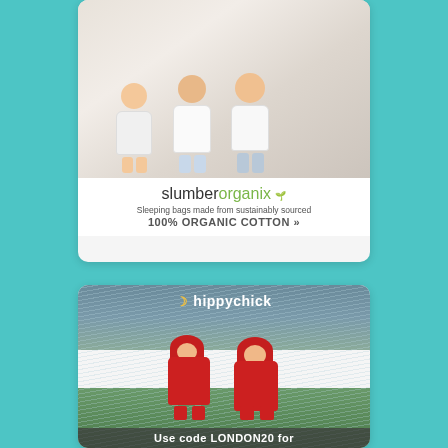[Figure (illustration): Advertisement for slumber organix - shows three babies/toddlers sitting on a white surface wearing white sleepwear. Below the photo is the brand name 'slumberorganix' with a green leaf, tagline 'Sleeping bags made from sustainably sourced 100% ORGANIC COTTON »']
[Figure (photo): Advertisement for hippychick - shows two young children in red waterproof suits/puddle suits running in rain. Logo 'hippychick' with yellow crescent moon icon at top. Bottom text reads 'Use code LONDON20 for [20% off...]']